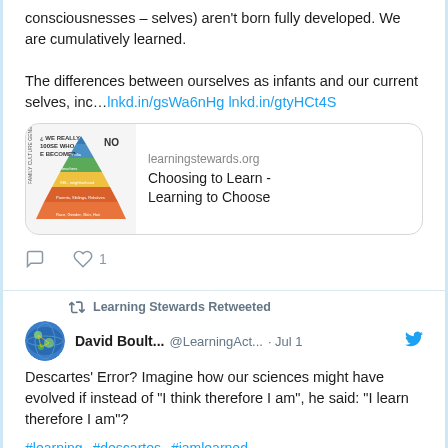consciousnesses – selves) aren't born fully developed. We are cumulatively learned.

The differences between ourselves as infants and our current selves, inc…lnkd.in/gsWa6nHg lnkd.in/gtyHCt4S
[Figure (screenshot): Link card showing a pyramid diagram image on the left and text on the right: learningstewards.org / Choosing to Learn - Learning to Choose]
Learning Stewards Retweeted
[Figure (illustration): Circular avatar with globe/brain illustration]
David Boult... @LearningAct... · Jul 1
Descartes' Error? Imagine how our sciences might have evolved if instead of "I think therefore I am", he said: "I learn therefore I am"?
#learning #descartes #iamlearned